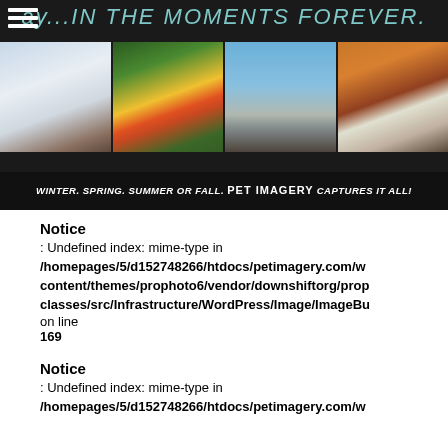[Figure (photo): Pet photography website banner showing four dog photos across seasons (winter, spring, summer, fall) on dark background with text 'ay...IN THE MOMENTS FOREVER.' at top and 'WINTER. SPRING. SUMMER OR FALL. PET IMAGERY CAPTURES IT ALL!' at bottom]
Notice
: Undefined index: mime-type in
/homepages/5/d152748266/htdocs/petimagery.com/wp-content/themes/prophoto6/vendor/downshiftorg/prop-classes/src/Infrastructure/WordPress/Image/ImageBu
on line
169
Notice
: Undefined index: mime-type in
/homepages/5/d152748266/htdocs/petimagery.com/wp-